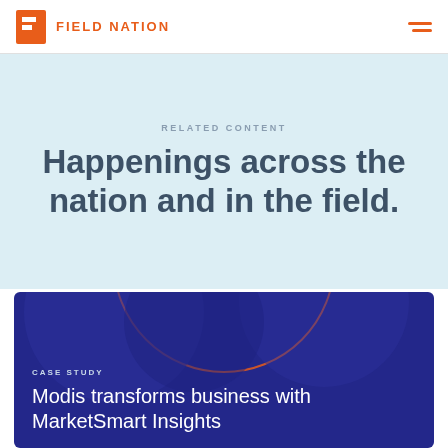FIELD NATION
RELATED CONTENT
Happenings across the nation and in the field.
CASE STUDY
Modis transforms business with MarketSmart Insights